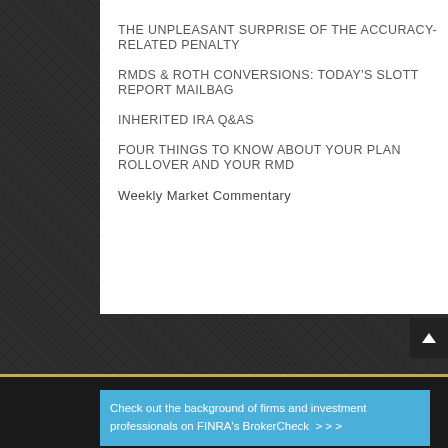THE UNPLEASANT SURPRISE OF THE ACCURACY-RELATED PENALTY
RMDS & ROTH CONVERSIONS: TODAY'S SLOTT REPORT MAILBAG
INHERITED IRA Q&AS
FOUR THINGS TO KNOW ABOUT YOUR PLAN ROLLOVER AND YOUR RMD
Weekly Market Commentary
Check out the background of firms and investment professionals on FINRA's BrokerCheck  > > >